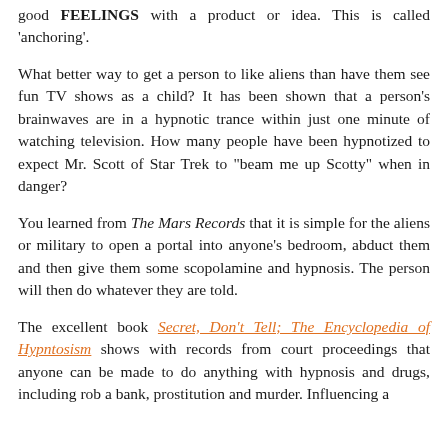good FEELINGS with a product or idea. This is called 'anchoring'.
What better way to get a person to like aliens than have them see fun TV shows as a child? It has been shown that a person's brainwaves are in a hypnotic trance within just one minute of watching television. How many people have been hypnotized to expect Mr. Scott of Star Trek to "beam me up Scotty" when in danger?
You learned from The Mars Records that it is simple for the aliens or military to open a portal into anyone's bedroom, abduct them and then give them some scopolamine and hypnosis. The person will then do whatever they are told.
The excellent book Secret, Don't Tell; The Encyclopedia of Hypntosism shows with records from court proceedings that anyone can be made to do anything with hypnosis and drugs, including rob a bank, prostitution and murder. Influencing a